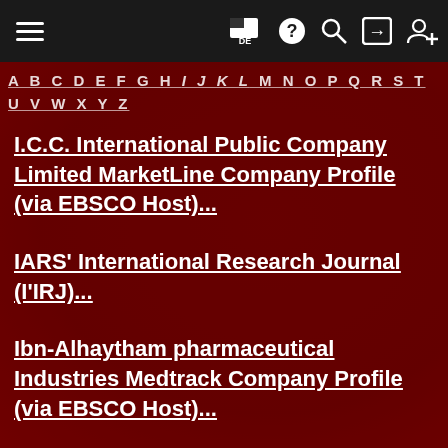≡  [flag DE] [?] [search] [login] [user+]
A B C D E F G H I J K L M N O P Q R S T U V W X Y Z
I.C.C. International Public Company Limited MarketLine Company Profile (via EBSCO Host)...
IARS' International Research Journal (I'IRJ)...
Ibn-Alhaytham pharmaceutical Industries Medtrack Company Profile (via EBSCO Host)...